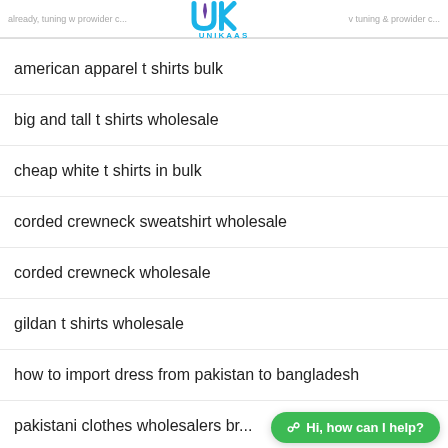already, tuning w prowider c... v tuning & prowider c...
[Figure (logo): UNIKAAS brand logo — blue stylized UK letters with a tie graphic and UNIKAAS text below in blue]
american apparel t shirts bulk
big and tall t shirts wholesale
cheap white t shirts in bulk
corded crewneck sweatshirt wholesale
corded crewneck wholesale
gildan t shirts wholesale
how to import dress from pakistan to bangladesh
pakistani clothes wholesalers br...
how to import dress from pakistan to bangladesh